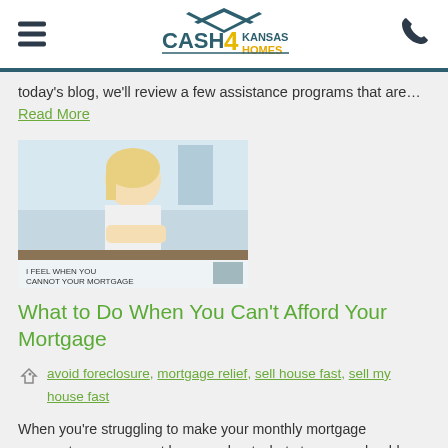Cash4KansasHomes
today's blog, we'll review a few assistance programs that are… Read More
[Figure (photo): Woman sitting at desk looking stressed, with text overlay about mortgage]
What to Do When You Can't Afford Your Mortgage
avoid foreclosure, mortgage relief, sell house fast, sell my house fast
When you're struggling to make your monthly mortgage payments, you may not be sure about what steps you should take to secure some form of mortgage relief. The process can be so overwhelming that many homeowners simply choose to walk away from homes they can no longer afford. While abandoning your… Read More